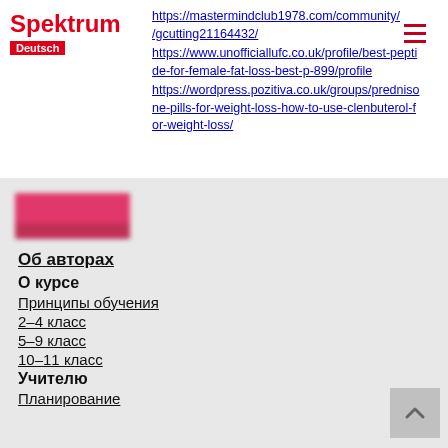Spektrum Deutsch
https://mastermindclub1978.com/community/gcutting21164432/
https://www.unofficiallufc.co.uk/profile/best-peptide-for-female-fat-loss-best-p-899/profile
https://wordpress.pozitiva.co.uk/groups/prednisone-pills-for-weight-loss-how-to-use-clenbuterol-for-weight-loss/
[Figure (logo): Spektrum Deutsch logo (blurred/redacted)]
Об авторах
О курсе
Принципы обучения
2–4 класс
5–9 класс
10–11 класс
Учителю
Планирование